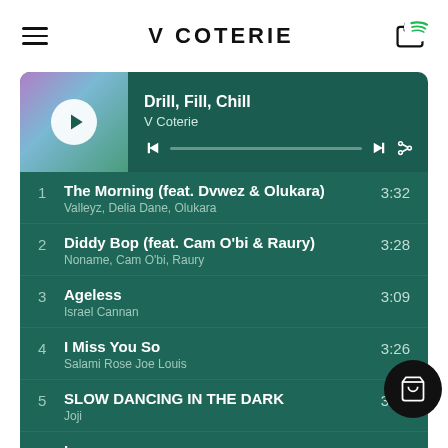V COTERIE
[Figure (screenshot): Spotify-style music player widget showing playlist 'Drill, Fill, Chill' by V Coterie with album art, playback controls, and progress bar]
1  The Morning (feat. Dvwez & Olukara)  3:32
Valleyz, Delia Dane, Olukara
2  Diddy Bop (feat. Cam O'bi & Raury)  3:28
Noname, Cam O'bi, Raury
3  Ageless  3:09
Israel Cannan
4  I Miss You So  3:26
Salami Rose Joe Louis
5  SLOW DANCING IN THE DARK  3:29
Joji
6  Loops  4:51